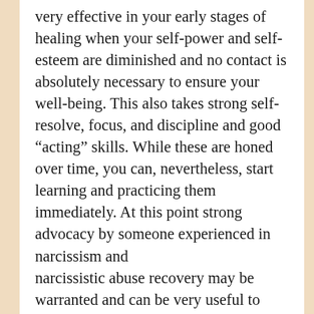very effective in your early stages of healing when your self-power and self-esteem are diminished and no contact is absolutely necessary to ensure your well-being. This also takes strong self-resolve, focus, and discipline and good “acting” skills. While these are honed over time, you can, nevertheless, start learning and practicing them immediately. At this point strong advocacy by someone experienced in narcissism and narcissistic abuse recovery may be warranted and can be very useful to take some of the burden off of you, minimize your contact with the narcissist, and allow you to focus on your healing. Remember, we should never participate in an interaction that will put us or our children in harm’s way. Seek police or legal or professional action for protection immediately.